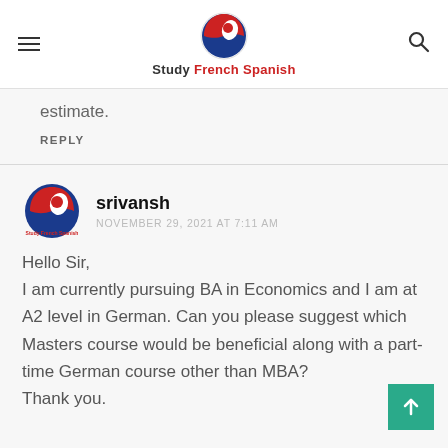Study French Spanish
estimate.
REPLY
srivansh
NOVEMBER 29, 2021 AT 7:11 AM
Hello Sir,
I am currently pursuing BA in Economics and I am at A2 level in German. Can you please suggest which Masters course would be beneficial along with a part-time German course other than MBA?
Thank you.